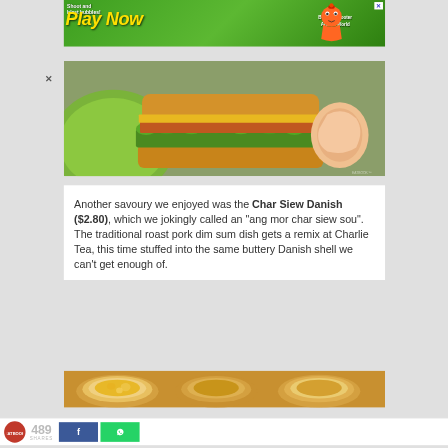[Figure (screenshot): Game advertisement banner with green background, 'Shoot and Blast Bubbles!' text, 'Play Now' in yellow, cartoon character, and 'Bubble Shooter Animal World' text]
[Figure (photo): Close-up photo of a Char Siew Danish pastry sandwich with layers of meat, lettuce, and bread]
Another savoury we enjoyed was the Char Siew Danish ($2.80), which we jokingly called an "ang mor char siew sou". The traditional roast pork dim sum dish gets a remix at Charlie Tea, this time stuffed into the same buttery Danish shell we can't get enough of.
[Figure (photo): Close-up photo of pastry tarts from below, partially visible at bottom of page]
489 SHARES | Facebook share button | WhatsApp share button